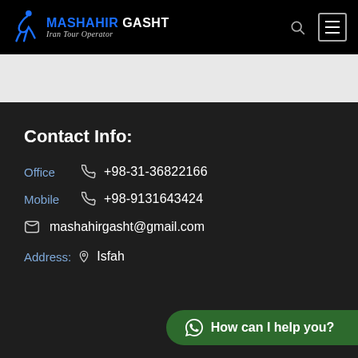MASHAHIR GASHT Iran Tour Operator
Contact Info:
Office +98-31-36822166
Mobile +98-9131643424
mashahirgasht@gmail.com
Address: Isfahan
How can I help you?